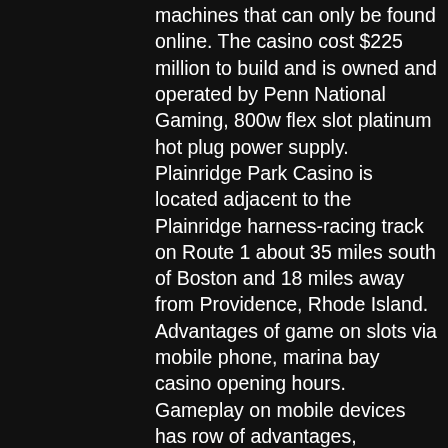machines that can only be found online. The casino cost $225 million to build and is owned and operated by Penn National Gaming, 800w flex slot platinum hot plug power supply. Plainridge Park Casino is located adjacent to the Plainridge harness-racing track on Route 1 about 35 miles south of Boston and 18 miles away from Providence, Rhode Island. Advantages of game on slots via mobile phone, marina bay casino opening hours. Gameplay on mobile devices has row of advantages, unavailable in land-based casinos and for PC users. Now, finding a casino in New York is easy to do and with so much information about gambling and the casinos themselves, you can be sure to have a great time, how to win online casino blackjack. Gambling guide - The latest NY legislation for 2021. While It's true that when online gambling was in its infancy in the mid to late 1990s not all USA online casinos were scrupulous e...